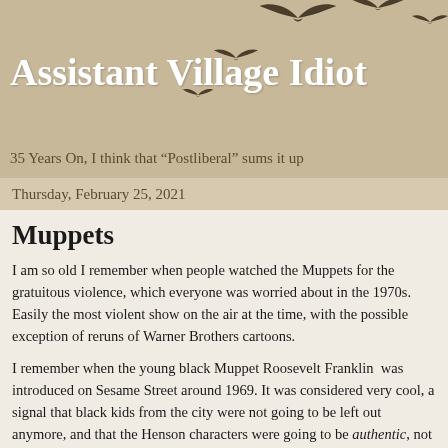[Figure (illustration): Silhouettes of birds flying in a curved formation against a tan/beige background, positioned in the upper right area of the header]
Assistant Village Idiot
35 Years On, I think that “Postliberal” sums it up
Thursday, February 25, 2021
Muppets
I am so old I remember when people watched the Muppets for the gratuitous violence, which everyone was worried about in the 1970s. Easily the most violent show on the air at the time, with the possible exception of reruns of Warner Brothers cartoons.
I remember when the young black Muppet Roosevelt Franklin  was introduced on Sesame Street around 1969. It was considered very cool, a signal that black kids from the city were not going to be left out anymore, and that the Henson characters were going to be authentic, not just white